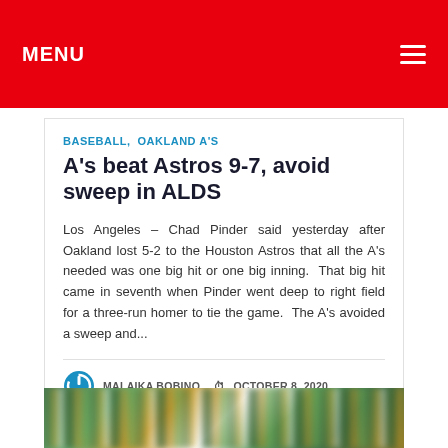MENU
BASEBALL, OAKLAND A'S
A's beat Astros 9-7, avoid sweep in ALDS
Los Angeles – Chad Pinder said yesterday after Oakland lost 5-2 to the Houston Astros that all the A's needed was one big hit or one big inning.  That big hit came in seventh when Pinder went deep to right field for a three-run homer to tie the game.  The A's avoided a sweep and...
MALAIKA BOBINO   OCTOBER 8, 2020
[Figure (photo): Crowd/stadium photo, blurred background]